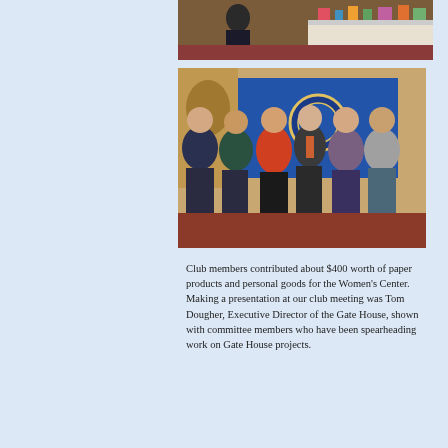[Figure (photo): Partial photo showing a person near a table with items on it, cropped at the top of the page.]
[Figure (photo): Group photo of six people (five women and one man in a tie) standing together in front of a blue banner. The man is Tom Dougher, Executive Director of the Gate House.]
Club members contributed about $400 worth of paper products and personal goods for the Women's Center.  Making a presentation at our club meeting was Tom Dougher, Executive Director of the Gate House, shown with committee members who have been spearheading work on Gate House projects.